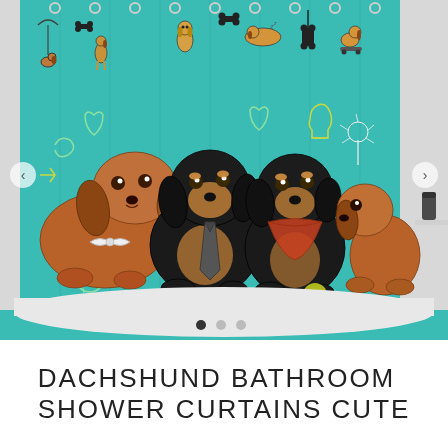[Figure (photo): Product photo of a dachshund-themed shower curtain displayed in a bathroom setting. The curtain features a teal/turquoise background with cartoon dachshund dog illustrations and icons hanging at the top, and four photorealistic dachshund dogs in the center — one reddish-brown with a bow tie, one black-and-tan with a necktie, one black-and-tan with a bandana, and one reddish-brown. Navigation arrows appear on the left and right sides. Three dot indicators appear at the bottom. A white bathtub edge is visible at the bottom, with bathroom shelving visible on the right side.]
DACHSHUND BATHROOM SHOWER CURTAINS CUTE